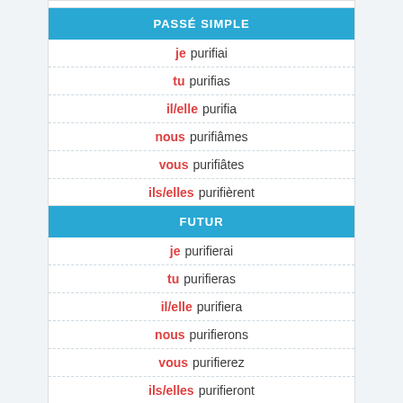PASSÉ SIMPLE
je purifiai
tu purifias
il/elle purifia
nous purifiâmes
vous purifiâtes
ils/elles purifièrent
FUTUR
je purifierai
tu purifieras
il/elle purifiera
nous purifierons
vous purifierez
ils/elles purifieront